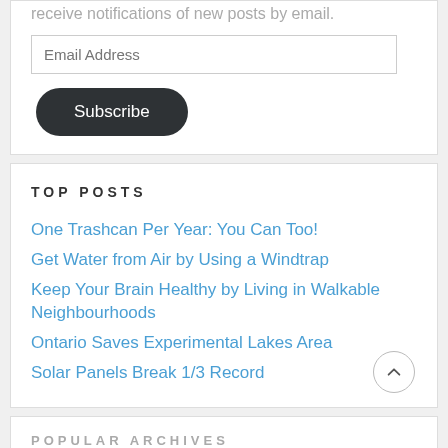receive notifications of new posts by email.
Email Address
Subscribe
TOP POSTS
One Trashcan Per Year: You Can Too!
Get Water from Air by Using a Windtrap
Keep Your Brain Healthy by Living in Walkable Neighbourhoods
Ontario Saves Experimental Lakes Area
Solar Panels Break 1/3 Record
POPULAR ARCHIVES